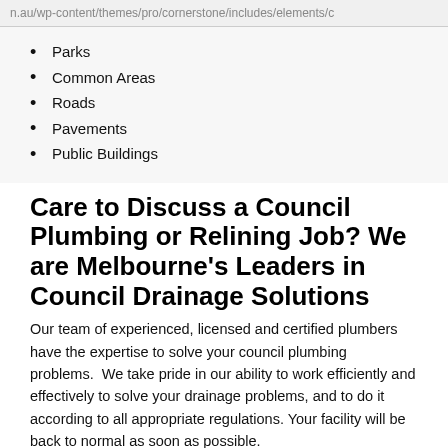n.au/wp-content/themes/pro/cornerstone/includes/elements/c
Parks
Common Areas
Roads
Pavements
Public Buildings
Care to Discuss a Council Plumbing or Relining Job? We are Melbourne's Leaders in Council Drainage Solutions
Our team of experienced, licensed and certified plumbers have the expertise to solve your council plumbing problems.  We take pride in our ability to work efficiently and effectively to solve your drainage problems, and to do it according to all appropriate regulations. Your facility will be back to normal as soon as possible.